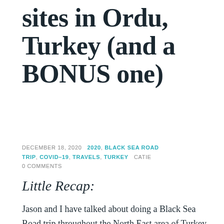sites in Ordu, Turkey (and a BONUS one)
DECEMBER 18, 2020  2020, BLACK SEA ROAD TRIP, COVID-19, TRAVELS, TURKEY  CATIE  0 COMMENTS
Little Recap:
Jason and I have talked about doing a Black Sea Road trip throughout the North East area of Turkey ever since we moved to Turkey, but it has never happened in the last 4 years of living here. On HIS birthday, Jason surprised